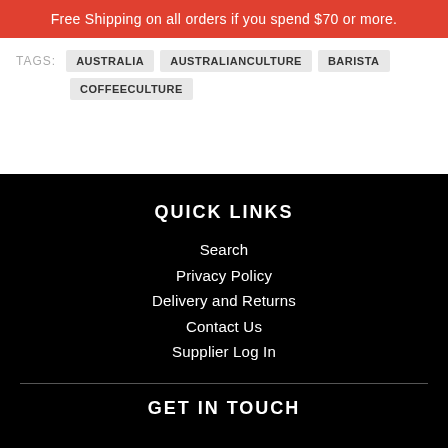Free Shipping on all orders if you spend $70 or more.
TAGS: AUSTRALIA  AUSTRALIANCULTURE  BARISTA  COFFEECULTURE
QUICK LINKS
Search
Privacy Policy
Delivery and Returns
Contact Us
Supplier Log In
GET IN TOUCH